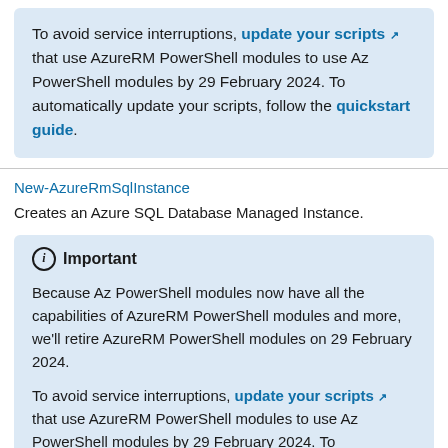To avoid service interruptions, update your scripts [external link] that use AzureRM PowerShell modules to use Az PowerShell modules by 29 February 2024. To automatically update your scripts, follow the quickstart guide.
New-AzureRmSqlInstance
Creates an Azure SQL Database Managed Instance.
Important
Because Az PowerShell modules now have all the capabilities of AzureRM PowerShell modules and more, we'll retire AzureRM PowerShell modules on 29 February 2024.
To avoid service interruptions, update your scripts [external link] that use AzureRM PowerShell modules to use Az PowerShell modules by 29 February 2024. To